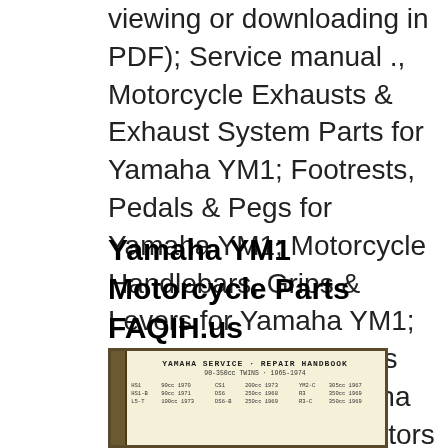viewing or downloading in PDF); Service manual ., Motorcycle Exhausts & Exhaust System Parts for Yamaha YM1; Footrests, Pedals & Pegs for Yamaha YM1; Motorcycle Handlebars, Grips & Levers for Yamaha YM1; Motorcycle Instruments and Gauges for Yamaha YM1; Lighting & Indicators for Yamaha YM1; Motorcycle Mirrors for Yamaha YM1; Seats & Seat Parts; Salvage Motorcycles; Motorcycle Wheels, Tires.
Yamaha YM1 Motorcycle Parts FAQIH.us
[Figure (photo): Cover of Yamaha Service Repair Handbook for 90-350cc Twins 1965-1974, showing various model listings including HS1, HS1-B, L5-T, CS1, DS6, DS7, YM2-C, R3, R3-C with their respective cc ratings and years]